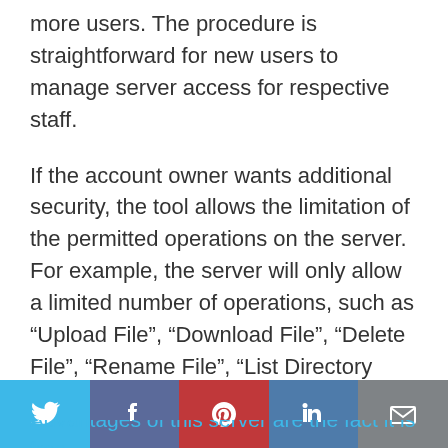more users. The procedure is straightforward for new users to manage server access for respective staff.
If the account owner wants additional security, the tool allows the limitation of the permitted operations on the server. For example, the server will only allow a limited number of operations, such as “Upload File”, “Download File”, “Delete File”, “Rename File”, “List Directory Contents”, “Create Directory”, and “Delete Directory”. Individuals can also choose which protocols to allow.
Advantages of this server are the fact it is free,
[Figure (infographic): Social share bar with five colored segments: Twitter (light blue), Facebook (blue-grey), Pinterest (red), LinkedIn (blue), Email (grey), each with their respective icon.]